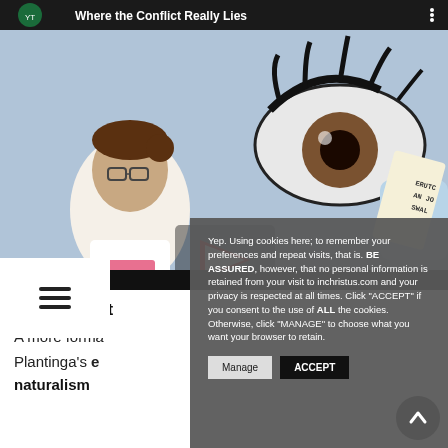[Figure (screenshot): YouTube video thumbnail showing an animated scientist character and a large illustrated eye holding a scroll, with the title 'Where the Conflict Really Lies' and a YouTube play button overlay.]
[Figure (infographic): Hamburger menu icon (three horizontal lines) on a white background.]
Addendum t[o...]
A more form[al...]
Plantinga's e[volutionary argument against] naturalism [...]
[Figure (screenshot): Cookie consent modal dialog with dark grey background. Text: 'Yep. Using cookies here; to remember your preferences and repeat visits, that is. BE ASSURED, however, that no personal information is retained from your visit to inchristus.com and your privacy is respected at all times. Click "ACCEPT" if you consent to the use of ALL the cookies. Otherwise, click "MANAGE" to choose what you want your browser to retain.' Two buttons: Manage and ACCEPT.]